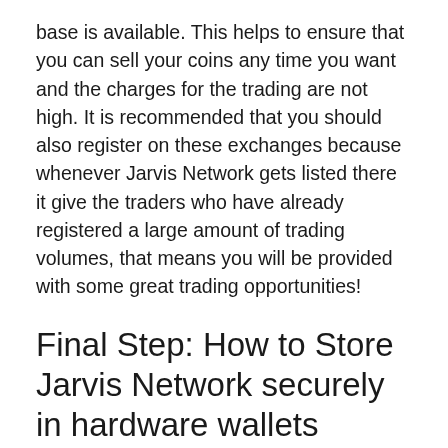base is available. This helps to ensure that you can sell your coins any time you want and the charges for the trading are not high. It is recommended that you should also register on these exchanges because whenever Jarvis Network gets listed there it give the traders who have already registered a large amount of trading volumes, that means you will be provided with some great trading opportunities!
Final Step: How to Store Jarvis Network securely in hardware wallets
1. Ledger Nano S